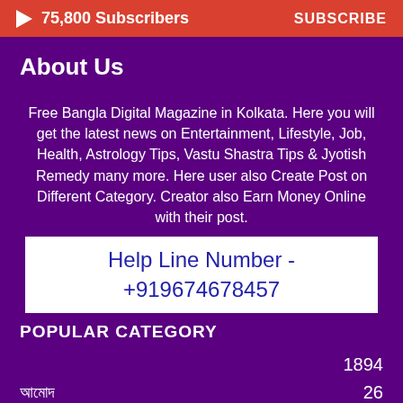75,800 Subscribers  SUBSCRIBE
About Us
Free Bangla Digital Magazine in Kolkata. Here you will get the latest news on Entertainment, Lifestyle, Job, Health, Astrology Tips, Vastu Shastra Tips & Jyotish Remedy many more. Here user also Create Post on Different Category. Creator also Earn Money Online with their post.
Help Line Number - +919674678457
POPULAR CATEGORY
1894
আমোদ  26
আরোগ্যশালা  25